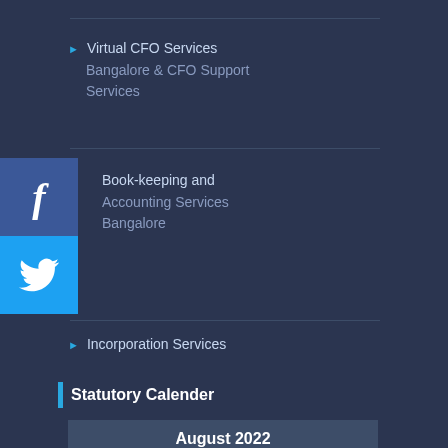Virtual CFO Services Bangalore & CFO Support Services
Book-keeping and Accounting Services Bangalore
Incorporation Services
Statutory Calender
| M | T | W | T | F | S | S |
| --- | --- | --- | --- | --- | --- | --- |